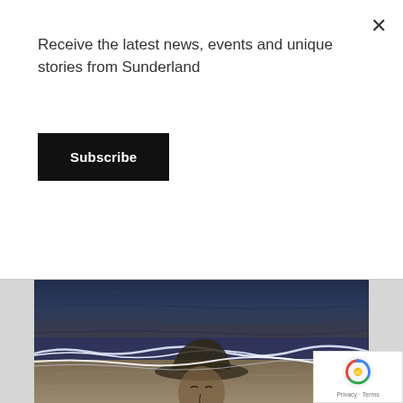Receive the latest news, events and unique stories from Sunderland
Subscribe
[Figure (photo): Artistic composite image showing an aerial view of ocean waves meeting a beach, with a historical portrait of a woman in a hat superimposed on the sand]
Sunderland Culture commemorates Armistice Day with a commission by 1418 Now and Danny Boyle